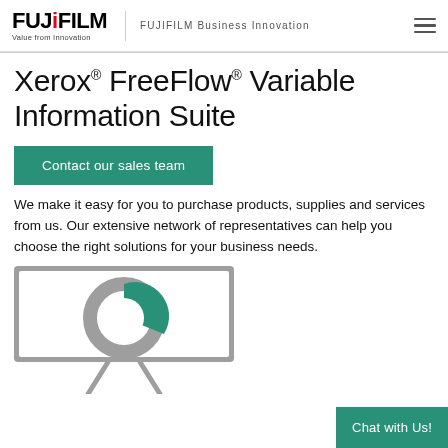FUJIFILM Business Innovation
Xerox® FreeFlow® Variable Information Suite
Contact our sales team
We make it easy for you to purchase products, supplies and services from us. Our extensive network of representatives can help you choose the right solutions for your business needs.
[Figure (illustration): A presentation board/easel with a pie/donut chart graphic in green and grey, partially cut off at the bottom of the page.]
Chat with Us!